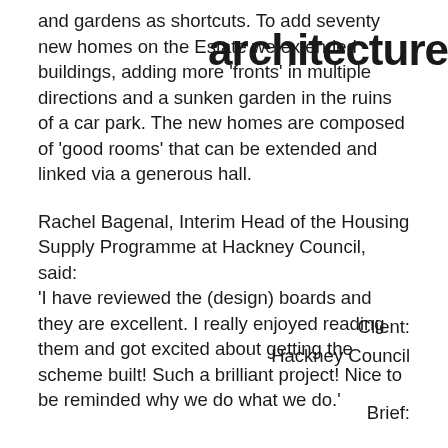and gardens as shortcuts. To add seventy new homes on the Estate we extended buildings, adding more 'fronts' in multiple directions and a sunken garden in the ruins of a car park. The new homes are composed of 'good rooms' that can be extended and linked via a generous hall.
architecture
Rachel Bagenal, Interim Head of the Housing Supply Programme at Hackney Council, said: 'I have reviewed the (design) boards and they are excellent. I really enjoyed reading them and got excited about getting the scheme built! Such a brilliant project! Nice to be reminded why we do what we do.'
Client:
Hackney Council

Brief: